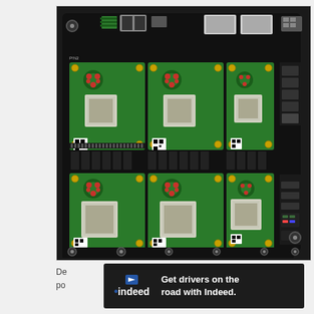[Figure (photo): A cluster board featuring six Raspberry Pi Compute Modules arranged in a 2x3 grid on a backplane board. The board has USB ports, Ethernet ports, and various connectors at the top and sides. Each Compute Module shows the Raspberry Pi logo and a large processor chip. The board is black with green Compute Modules and yellow mounting screws.]
[Figure (screenshot): An advertisement banner from Indeed job platform. Dark background with Indeed logo on the left and text 'Get drivers on the road with Indeed.' on the right. There is an X close button on the far right.]
De... po...